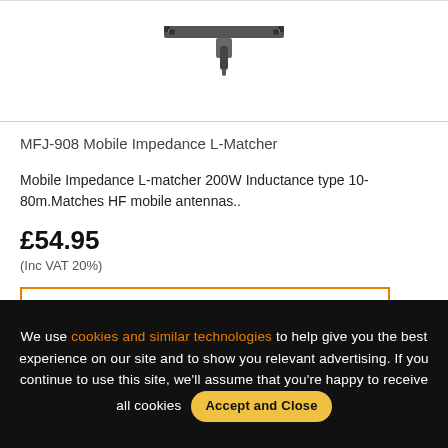[Figure (photo): Photo of MFJ-908 Mobile Impedance L-Matcher hardware component, top view showing metal bracket/mounting plate]
MFJ-908 Mobile Impedance L-Matcher
Mobile Impedance L-matcher 200W Inductance type 10-80m.Matches HF mobile antennas..
£54.95
(Inc VAT 20%)
ADD TO CART
We use cookies and similar technologies to help give you the best experience on our site and to show you relevant advertising. If you continue to use this site, we'll assume that you're happy to receive all cookies Accept and Close